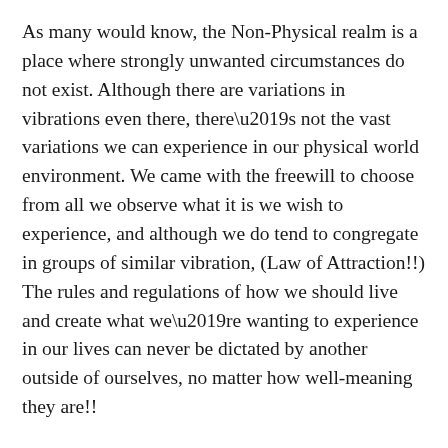As many would know, the Non-Physical realm is a place where strongly unwanted circumstances do not exist. Although there are variations in vibrations even there, there’s not the vast variations we can experience in our physical world environment. We came with the freewill to choose from all we observe what it is we wish to experience, and although we do tend to congregate in groups of similar vibration, (Law of Attraction!!) The rules and regulations of how we should live and create what we’re wanting to experience in our lives can never be dictated by another outside of ourselves, no matter how well-meaning they are!!
When one feels their experience is threatened by others behaving in a way they find to be inappropriate, and much negative focused attention is given to such